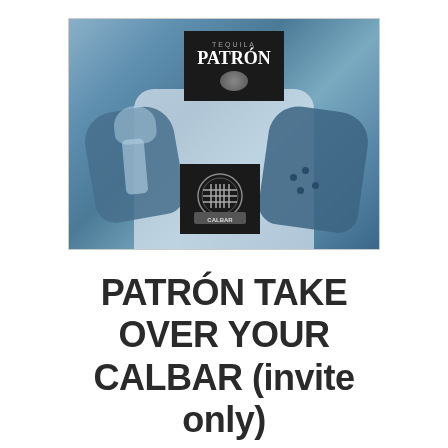[Figure (photo): Blue-tinted photo of a bartender in a white apron holding cocktail glasses and a Patron tequila bottle, with the Patron tequila logo overlaid at the top center and the Calbar logo overlaid at the bottom center of the image.]
PATRÓN TAKE OVER YOUR CALBAR (invite only)